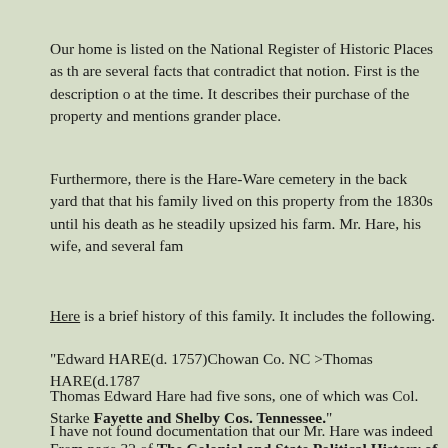Our home is listed on the National Register of Historic Places as th... are several facts that contradict that notion. First is the description o... at the time. It describes their purchase of the property and mentions... grander place.
Furthermore, there is the Hare-Ware cemetery in the back yard that... that his family lived on this property from the 1830s until his death... as he steadily upsized his farm. Mr. Hare, his wife, and several fam...
Here is a brief history of this family. It includes the following.
"Edward HARE(d. 1757)Chowan Co. NC >Thomas HARE(d.1787...
Thomas Edward Hare had five sons, one of which was Col. Starke... Fayette and Shelby Cos. Tennessee."
I have not found documentation that our Mr. Hare was indeed a col...
From page 32 of The Colonial and State Political History of Her...